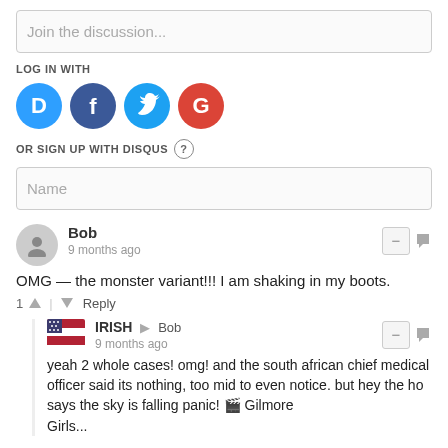Join the discussion...
LOG IN WITH
[Figure (infographic): Social login icons: Disqus (blue), Facebook (blue), Twitter (cyan), Google (red)]
OR SIGN UP WITH DISQUS ?
Name
Bob
9 months ago
OMG — the monster variant!!! I am shaking in my boots.
1 ^ | v Reply
IRISH → Bob
9 months ago
yeah 2 whole cases! omg! and the south african chief medical officer said its nothing, too mid to even notice. but hey the ho says the sky is falling panic! 🎬 Gilmore Girls... [truncated]